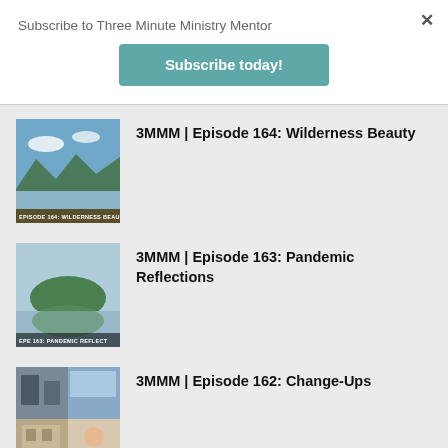Subscribe to Three Minute Ministry Mentor
Subscribe today!
3MMM | Episode 164: Wilderness Beauty
3MMM | Episode 163: Pandemic Reflections
3MMM | Episode 162: Change-Ups